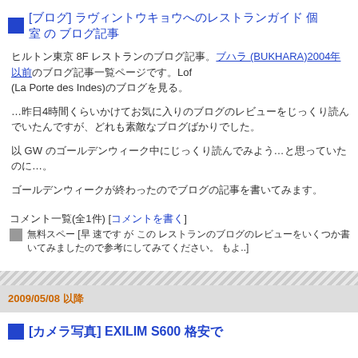[ブログ] ラヴィントウキョウへのレストランガイド 個室 の ブログ記事
ヒルトン東京 8F レストランのブログ記事。ブハラ (BUKHARA)の2004年以前のブログ記事一覧ページです。Lof (La Porte des Indes)のブログを見る。
…昨日4時間くらいかけてお気に入りのブログのレビューをじっくり読んでいたんですが、どれも素敵なブログばかりでした。
以 GW のゴールデンウィーク中にじっくり読んでみよう…と思っていたのに…。
ゴールデンウィークが終わったのでブログの記事を書いてみます。
コメント一覧(全1件) [コメントを書く]
無料スペー [早 速です が この レストランのブログのレビューをいくつか書いてみましたので参考にしてみてください。 もよ..]
2009/05/08 以降
[カメラ写真] EXILIM S600 格安で